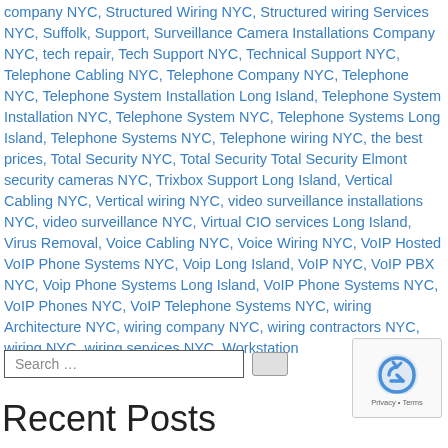company NYC, Structured Wiring NYC, Structured wiring Services NYC, Suffolk, Support, Surveillance Camera Installations Company NYC, tech repair, Tech Support NYC, Technical Support NYC, Telephone Cabling NYC, Telephone Company NYC, Telephone NYC, Telephone System Installation Long Island, Telephone System Installation NYC, Telephone System NYC, Telephone Systems Long Island, Telephone Systems NYC, Telephone wiring NYC, the best prices, Total Security NYC, Total Security Total Security Elmont security cameras NYC, Trixbox Support Long Island, Vertical Cabling NYC, Vertical wiring NYC, video surveillance installations NYC, video surveillance NYC, Virtual CIO services Long Island, Virus Removal, Voice Cabling NYC, Voice Wiring NYC, VoIP Hosted VoIP Phone Systems NYC, Voip Long Island, VoIP NYC, VoIP PBX NYC, Voip Phone Systems Long Island, VoIP Phone Systems NYC, VoIP Phones NYC, VoIP Telephone Systems NYC, wiring Architecture NYC, wiring company NYC, wiring contractors NYC, wiring NYC, wiring services NYC, Workstation
Search ...
Recent Posts